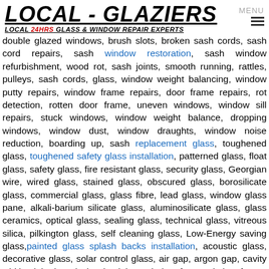LOCAL - GLAZIERS LOCAL 24HRS GLASS & WINDOW REPAIR EXPERTS
double glazed windows, brush slots, broken sash cords, sash cord repairs, sash window restoration, sash window refurbishment, wood rot, sash joints, smooth running, rattles, pulleys, sash cords, glass, window weight balancing, window putty repairs, window frame repairs, door frame repairs, rot detection, rotten door frame, uneven windows, window sill repairs, stuck windows, window weight balance, dropping windows, window dust, window draughts, window noise reduction, boarding up, sash replacement glass, toughened glass, toughened safety glass installation, patterned glass, float glass, safety glass, fire resistant glass, security glass, Georgian wire, wired glass, stained glass, obscured glass, borosilicate glass, commercial glass, glass fibre, lead glass, window glass pane, alkali-barium silicate glass, aluminosilicate glass, glass ceramics, optical glass, sealing glass, technical glass, vitreous silica, pilkington glass, self cleaning glass, Low-Energy saving glass, painted glass splash backs installation, acoustic glass, decorative glass, solar control glass, air gap, argon gap, cavity width, dehydrated air, aluminium window frame, timber frame, PVC window frames, spacer bars, mi